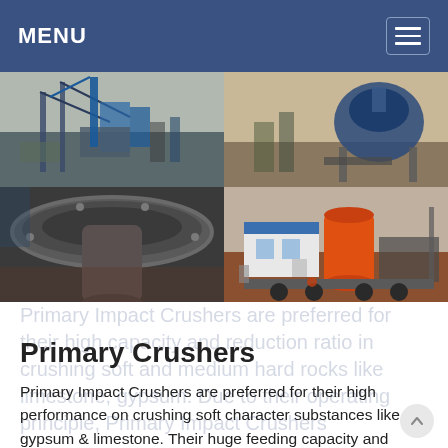MENU
[Figure (photo): Four-panel photo grid showing industrial crushing and mining equipment: top-left shows an overhead view of a large industrial plant with conveyors and blue machinery, top-right shows a large conical crusher machine outdoors, bottom-left shows a close-up of a large cylindrical crusher cone mechanism, bottom-right shows a mobile crushing unit with an orange cylindrical drum and white site office building on a trailer.]
Primary Crushers
Primary Impact Crushers are preferred for their high performance on crushing soft character substances like gypsum & limestone. Their huge feeding capacity and adjustable closed side settings control the crushing process. Due to the working principle of crushing,